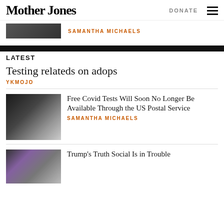Mother Jones
DONATE
[Figure (photo): Top thumbnail image showing person, partially cropped]
SAMANTHA MICHAELS
LATEST
Testing relateds on adops
YKMOJO
[Figure (photo): Photo of a hand in blue glove holding a rapid Covid test kit]
Free Covid Tests Will Soon No Longer Be Available Through the US Postal Service
SAMANTHA MICHAELS
[Figure (photo): Photo of a phone screen showing Truth Social app with Trump in background]
Trump’s Truth Social Is in Trouble